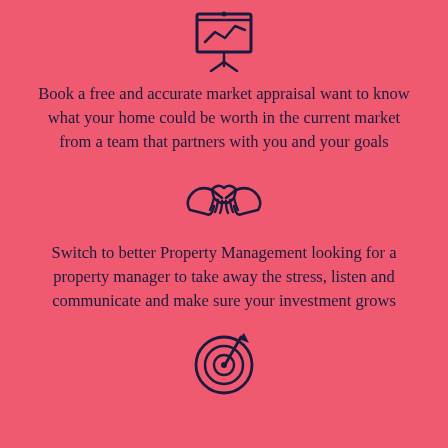[Figure (illustration): Icon of a presentation board/chart with a line graph and easel stand]
Book a free and accurate market appraisal want to know what your home could be worth in the current market from a team that partners with you and your goals
[Figure (illustration): Icon of two hands shaking (handshake)]
Switch to better Property Management looking for a property manager to take away the stress, listen and communicate and make sure your investment grows
[Figure (illustration): Icon of a target/bullseye with an arrow hitting the center]